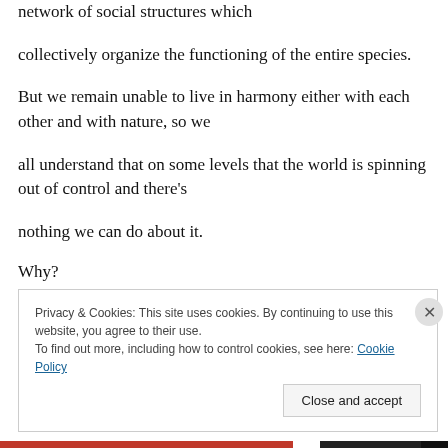network of social structures which
collectively organize the functioning of the entire species.
But we remain unable to live in harmony either with each other and with nature, so we
all understand that on some levels that the world is spinning out of control and there's
nothing we can do about it.
Why?
Privacy & Cookies: This site uses cookies. By continuing to use this website, you agree to their use.
To find out more, including how to control cookies, see here: Cookie Policy
Close and accept